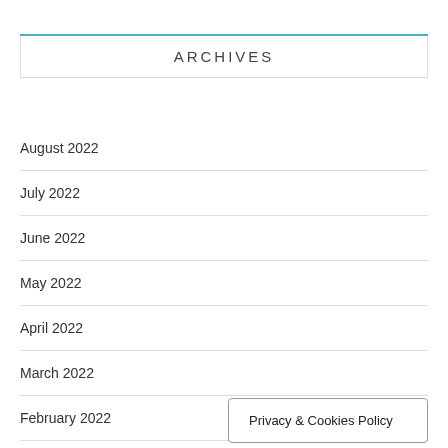ARCHIVES
August 2022
July 2022
June 2022
May 2022
April 2022
March 2022
February 2022
December 2021
Privacy & Cookies Policy